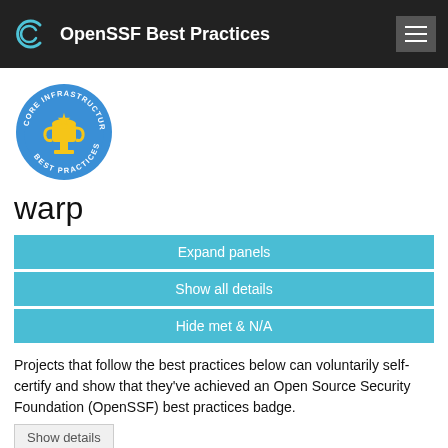OpenSSF Best Practices
[Figure (logo): Blue circular badge with gold trophy and text 'CORE INFRASTRUCTURE INITIATIVE BEST PRACTICES']
warp
Expand panels
Show all details
Hide met & N/A
Projects that follow the best practices below can voluntarily self-certify and show that they've achieved an Open Source Security Foundation (OpenSSF) best practices badge.
Show details